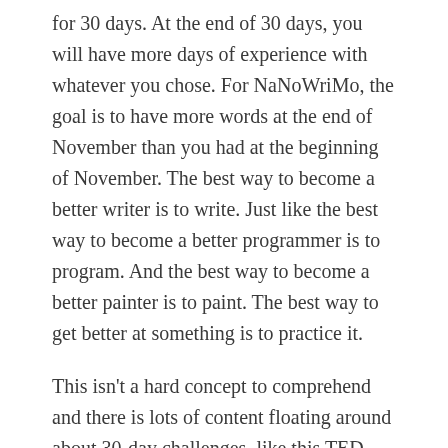for 30 days. At the end of 30 days, you will have more days of experience with whatever you chose. For NaNoWriMo, the goal is to have more words at the end of November than you had at the beginning of November. The best way to become a better writer is to write. Just like the best way to become a better programmer is to program. And the best way to become a better painter is to paint. The best way to get better at something is to practice it.
This isn't a hard concept to comprehend and there is lots of content floating around about 30-day challenges, like this TED Talk. However, it is a hard concept to put into to practice.
Sustainability